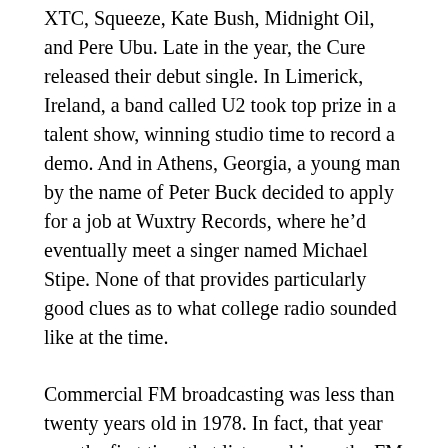XTC, Squeeze, Kate Bush, Midnight Oil, and Pere Ubu. Late in the year, the Cure released their debut single. In Limerick, Ireland, a band called U2 took top prize in a talent show, winning studio time to record a demo. And in Athens, Georgia, a young man by the name of Peter Buck decided to apply for a job at Wuxtry Records, where he'd eventually meet a singer named Michael Stipe. None of that provides particularly good clues as to what college radio sounded like at the time.
Commercial FM broadcasting was less than twenty years old in 1978. In fact, that year was the first time that listenership on the FM band–with its stereo sound and superior audio quality–exceeded that of AM radio. Simply by being on FM, college radio stations were somewhat strange and alternative. Rather than having their own identity, they were tied